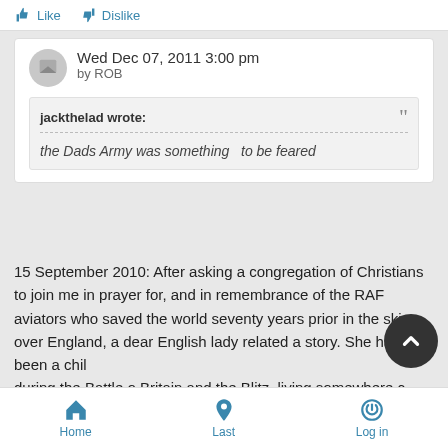Like   Dislike
Wed Dec 07, 2011 3:00 pm
by ROB
jackthelad wrote:
the Dads Army was something  to be feared
15 September 2010: After asking a congregation of Christians to join me in prayer for, and in remembrance of the RAF aviators who saved the world seventy years prior in the skies over England, a dear English lady related a story. She had been a child during the Battle o Britain and the Blitz, living somewhere of the English countryside (my "command" of English geography is
Home   Last   Log in